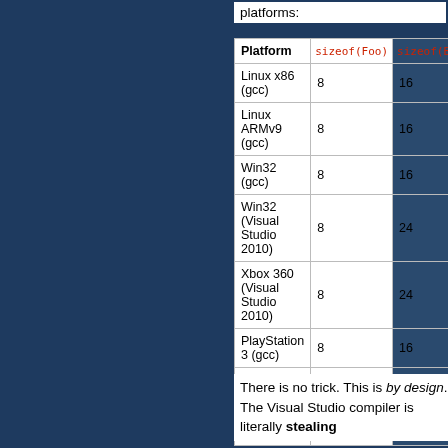platforms:
| Platform | sizeof(Foo) | sizeof(Bar) | Madness |
| --- | --- | --- | --- |
| Linux x86 (gcc) | 8 | 16 | no |
| Linux ARMv9 (gcc) | 8 | 16 | no |
| Win32 (gcc) | 8 | 16 | no |
| Win32 (Visual Studio 2010) | 8 | 24 | yes |
| Xbox 360 (Visual Studio 2010) | 8 | 24 | yes |
| PlayStation 3 (gcc) | 8 | 16 | no |
| PlayStation 3 (SNC) | 8 | 16 | no |
| Mac OS X x86 (gcc) | 8 | 16 | no |
There is no trick. This is by design. The Visual Studio compiler is literally stealing